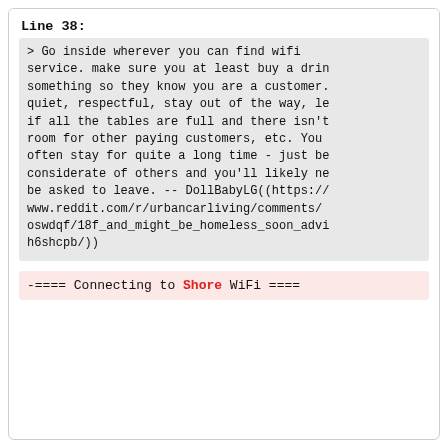Line 38:
> Go inside wherever you can find wifi service. make sure you at least buy a drin something so they know you are a customer. quiet, respectful, stay out of the way, le if all the tables are full and there isn't room for other paying customers, etc. You often stay for quite a long time - just be considerate of others and you'll likely ne be asked to leave. -- DollBabyLG((https://www.reddit.com/r/urbancarliving/comments/oswdqf/18f_and_might_be_homeless_soon_advi h6shcpb/))
-==== Connecting to Shore WiFi ====